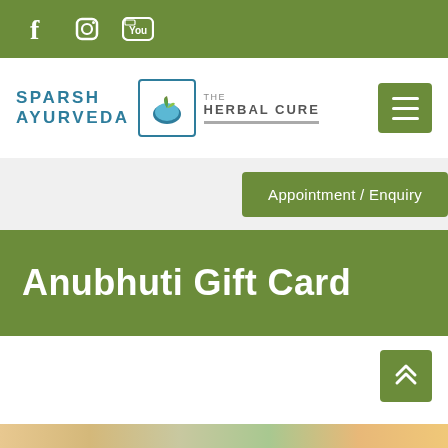Social media icons: Facebook, Instagram, YouTube
[Figure (logo): Sparsh Ayurveda – The Herbal Cure logo with teal leaf emblem]
Appointment / Enquiry
Anubhuti Gift Card
[Figure (photo): Partial photo of herbs and natural ingredients on wooden surface]